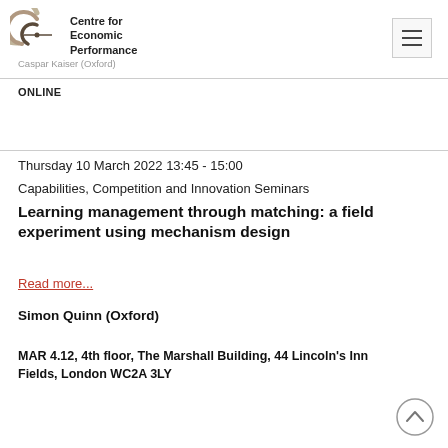Feelings and actions: a validation exercise
[Figure (logo): Centre for Economic Performance logo — stylized C with concentric arcs]
Centre for Economic Performance
Caspar Kaiser (Oxford)
ONLINE
Thursday 10 March 2022 13:45 - 15:00
Capabilities, Competition and Innovation Seminars
Learning management through matching: a field experiment using mechanism design
Read more...
Simon Quinn (Oxford)
MAR 4.12, 4th floor, The Marshall Building, 44 Lincoln's Inn Fields, London WC2A 3LY